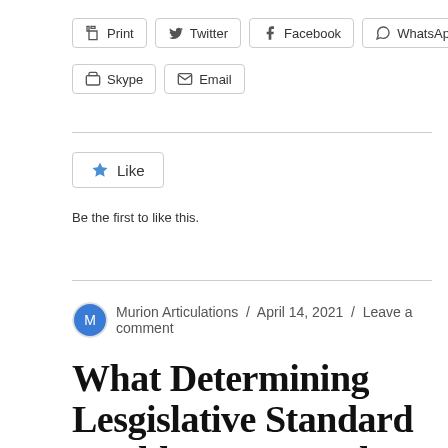[Figure (screenshot): Social share buttons: Print, Twitter, Facebook, WhatsApp, Skype, Email]
[Figure (screenshot): Like button widget with star icon]
Be the first to like this.
Murion Articulations / April 14, 2021 / Leave a comment
What Determining Lesgislative Standard Could Be Put In Place As A Procedural SafeGuard